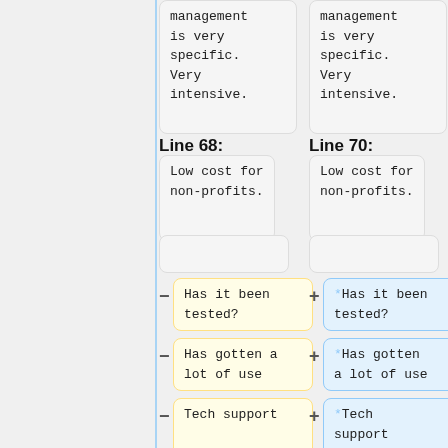management is very specific. Very intensive.
management is very specific. Very intensive.
Line 68:
Line 70:
Low cost for non-profits.
Low cost for non-profits.
Has it been tested?
*Has it been tested?
Has gotten a lot of use
*Has gotten a lot of use
Tech support
*Tech support